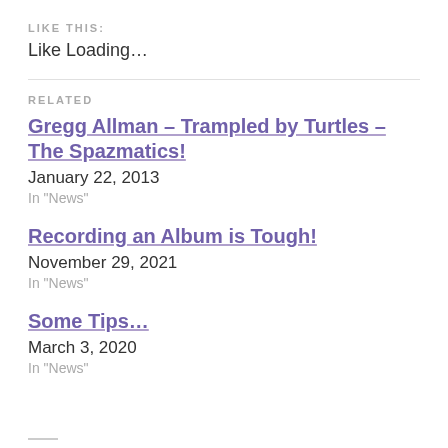LIKE THIS:
Like Loading…
RELATED
Gregg Allman – Trampled by Turtles – The Spazmatics!
January 22, 2013
In "News"
Recording an Album is Tough!
November 29, 2021
In "News"
Some Tips…
March 3, 2020
In "News"